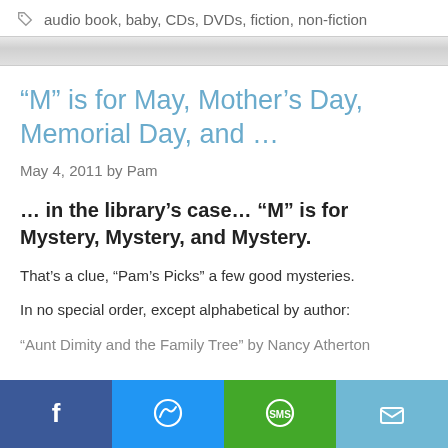audio book, baby, CDs, DVDs, fiction, non-fiction
“M” is for May, Mother’s Day, Memorial Day, and …
May 4, 2011 by Pam
… in the library’s case… “M” is for Mystery, Mystery, and Mystery.
That’s a clue, “Pam’s Picks” a few good mysteries.
In no special order, except alphabetical by author:
“Aunt Dimity and the Family Tree” by Nancy Atherton